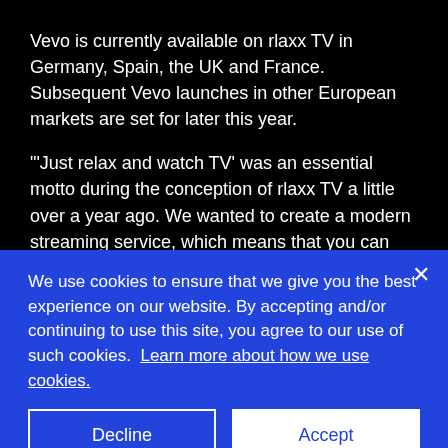Vevo is currently available on rlaxx TV in Germany, Spain, the UK and France. Subsequent Vevo launches in other European markets are set for later this year.
“‘Just relax and watch TV’ was an essential motto during the conception of rlaxx TV a little over a year ago. We wanted to create a modern streaming service, which means that you can simply switch on and then lean back without
We use cookies to ensure that we give you the best experience on our website. By accepting and/or continuing to use this site, you agree to our use of such cookies. Learn more about how we use cookies.